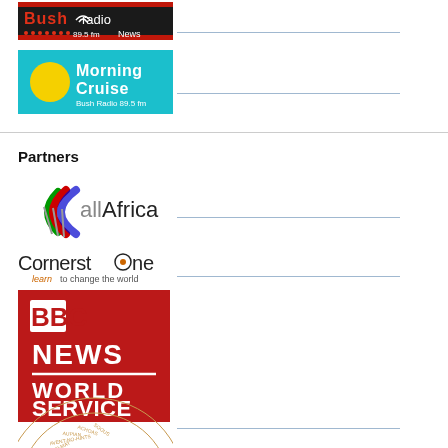[Figure (logo): Bush Radio 89.5 FM News logo - dark red/black banner]
[Figure (logo): Morning Cruise Bush Radio 89.5 fm logo - teal/cyan background]
Partners
[Figure (logo): allAfrica logo with colored fan/arc design]
[Figure (logo): Cornerstone - Learn to change the world logo]
[Figure (logo): BBC NEWS WORLD SERVICE logo on red background]
[Figure (logo): Partial circular logo with text radiating outward (Afrikaner/language wheel) - partially visible at bottom]